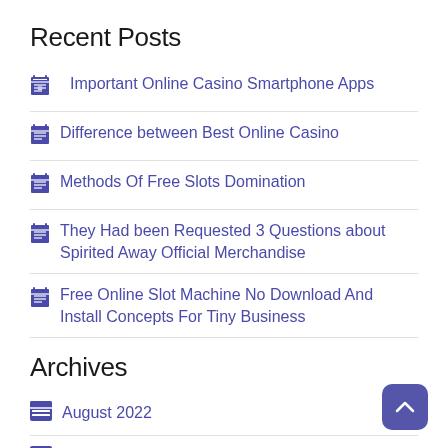Recent Posts
Important Online Casino Smartphone Apps
Difference between Best Online Casino
Methods Of Free Slots Domination
They Had been Requested 3 Questions about Spirited Away Official Merchandise
Free Online Slot Machine No Download And Install Concepts For Tiny Business
Archives
August 2022
July 2022